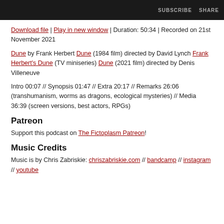[Figure (screenshot): Dark media player bar with SUBSCRIBE and SHARE buttons on the right]
Download file | Play in new window | Duration: 50:34 | Recorded on 21st November 2021
Dune by Frank Herbert Dune (1984 film) directed by David Lynch Frank Herbert's Dune (TV miniseries) Dune (2021 film) directed by Denis Villeneuve
Intro 00:07 // Synopsis 01:47 // Extra 20:17 // Remarks 26:06 (transhumanism, worms as dragons, ecological mysteries) // Media 36:39 (screen versions, best actors, RPGs)
Patreon
Support this podcast on The Fictoplasm Patreon!
Music Credits
Music is by Chris Zabriskie: chriszabriskie.com // bandcamp // instagram // youtube